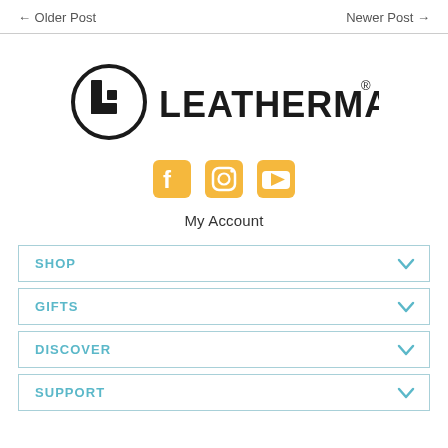← Older Post    Newer Post →
[Figure (logo): Leatherman logo with circular L icon and LEATHERMAN® wordmark in bold black]
[Figure (infographic): Three social media icons in yellow/gold: Facebook, Instagram, YouTube]
My Account
SHOP
GIFTS
DISCOVER
SUPPORT